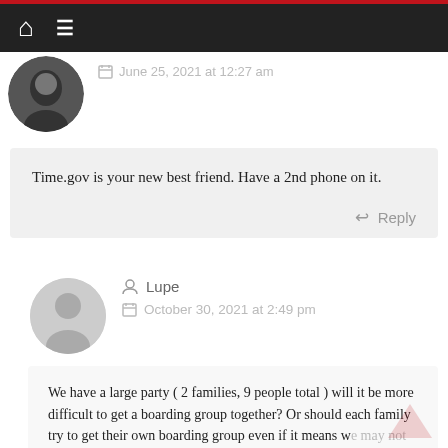Navigation bar with home and menu icons
June 25, 2021 at 12:27 am
Time.gov is your new best friend. Have a 2nd phone on it.
Reply
Lupe
October 30, 2021 at 2:49 pm
We have a large party ( 2 families, 9 people total ) will it be more difficult to get a boarding group together? Or should each family try to get their own boarding group even if it means we may not all go together?